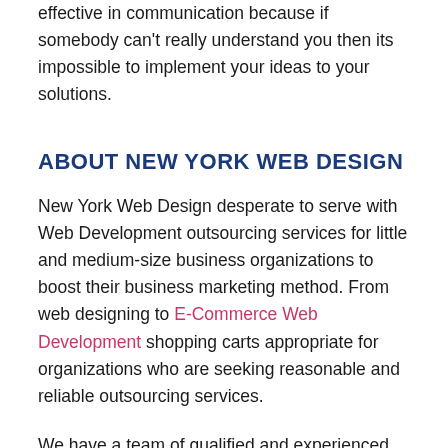effective in communication because if somebody can't really understand you then its impossible to implement your ideas to your solutions.
ABOUT NEW YORK WEB DESIGN
New York Web Design desperate to serve with Web Development outsourcing services for little and medium-size business organizations to boost their business marketing method. From web designing to E-Commerce Web Development shopping carts appropriate for organizations who are seeking reasonable and reliable outsourcing services.
We have a team of qualified and experienced developers and Logo Designing for your online wants, we accept PNG, JPG, AI, BMP, GIF, and PSD styles and convert them to dynamic Interface